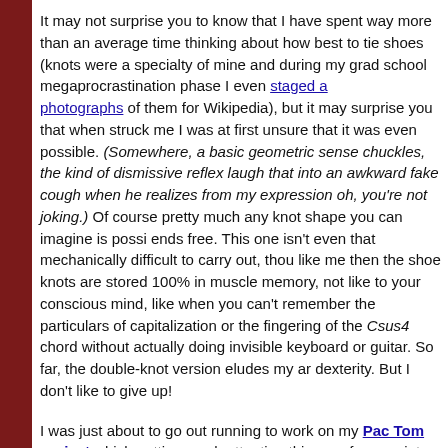It may not surprise you to know that I have spent way more than an average amount of time thinking about how best to tie shoes (knots were a specialty of mine in childhood, and during my grad school megaprocrastination phase I even staged a series of photographs of them for Wikipedia), but it may surprise you that when this idea struck me I was at first unsure that it was even possible. (Somewhere, a man with basic geometric sense chuckles, the kind of dismissive reflex laugh that converts into an awkward fake cough when he realizes from my expression oh, you're not joking.) Of course pretty much any knot shape you can imagine is possible with two ends free. This one isn't even that mechanically difficult to carry out, though if you like me then the shoe knots are stored 100% in muscle memory, not like accessible to your conscious mind, like when you can't remember the particulars of the capitalization or the fingering of the Csus4 chord without actually doing it on an invisible keyboard or guitar. So far, the double-knot version eludes my arthritic finger dexterity. But I don't like to give up!
I was just about to go out running to work on my Pac Tom project which has been getting much attention this year for a variety of reasons. Right as I'm about to leave the house with everything ready (as much as a like running for its simplicity, there's still preparatory food and liquids and coffee and ibuprofen, sunscreen which on me looks real walnut with a beard and general body hair, plus I have this super old like multiple brand old dried sunscreen that I found on Ryan's porch and appears to contain an infinite amount of superdense titanium white oil paint, which is the sunscreen I've been using for years because it's not like I'm going to throw this perfectly water immiscible paste out, even though Ryan tells me that it probably contains lead because it dates from pre-FDA era wild West style chemistry times, and also shoe tying which becomes a thought excursion, and since I just got a new computer I have to install all the mapping stuff on it and transfer it over from the old one, etc.), I notice my GPS watch, basically the only piece of non-negotiable equipment on a run, left and right foot, is out of batteries because of the ill-designed charging...